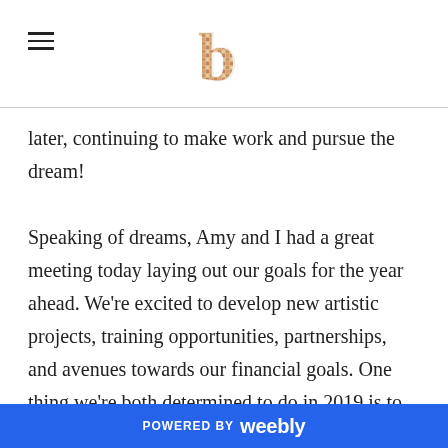[hamburger menu icon] [decorative b logo]
later, continuing to make work and pursue the dream!

Speaking of dreams, Amy and I had a great meeting today laying out our goals for the year ahead. We're excited to develop new artistic projects, training opportunities, partnerships, and avenues towards our financial goals. One thing we're both determined to do in 2019 is to make genuine efforts to foster community. In an era where we can easily feel disconnected or isolated despite all our means of
POWERED BY weebly